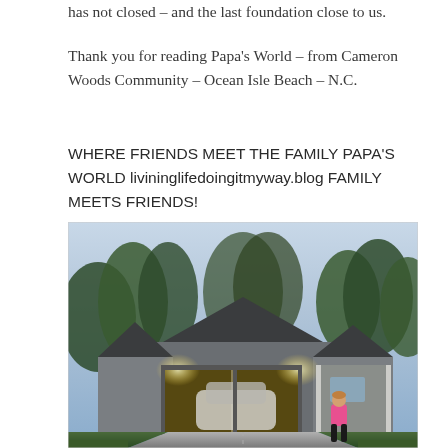has not closed – and the last foundation close to us.
Thank you for reading Papa's World – from Cameron Woods Community – Ocean Isle Beach – N.C.
WHERE FRIENDS MEET THE FAMILY PAPA'S WORLD livininglifedoingitmyway.blog FAMILY MEETS FRIENDS!
[Figure (photo): Evening photo of a craftsman-style house with an open two-car garage, lights on inside the garage illuminating a white SUV, a person in a pink top standing in the driveway, trees in the background against a dusk sky.]